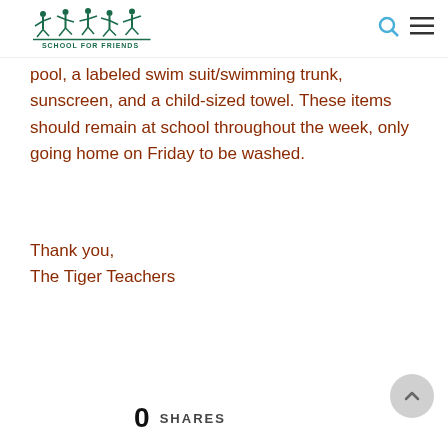SCHOOL FOR FRIENDS
pool, a labeled swim suit/swimming trunk, sunscreen, and a child-sized towel. These items should remain at school throughout the week, only going home on Friday to be washed.
Thank you,
The Tiger Teachers
0 SHARES